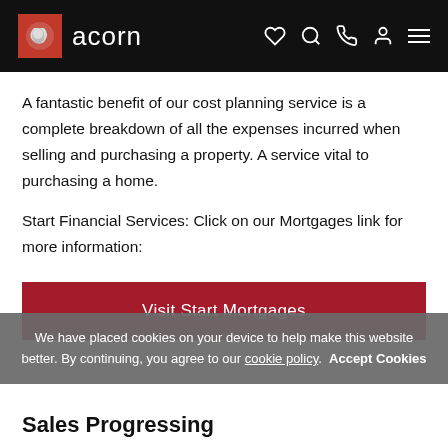acorn
A fantastic benefit of our cost planning service is a complete breakdown of all the expenses incurred when selling and purchasing a property. A service vital to purchasing a home.
Start Financial Services: Click on our Mortgages link for more information:
[Figure (other): Red button with white text 'Visit Start Mortgages']
We have placed cookies on your device to help make this website better. By continuing, you agree to our cookie policy. Accept Cookies
Sales Progressing